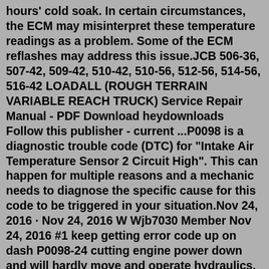hours' cold soak. In certain circumstances, the ECM may misinterpret these temperature readings as a problem. Some of the ECM reflashes may address this issue.JCB 506-36, 507-42, 509-42, 510-42, 510-56, 512-56, 514-56, 516-42 LOADALL (ROUGH TERRAIN VARIABLE REACH TRUCK) Service Repair Manual - PDF Download heydownloads Follow this publisher - current ...P0098 is a diagnostic trouble code (DTC) for "Intake Air Temperature Sensor 2 Circuit High". This can happen for multiple reasons and a mechanic needs to diagnose the specific cause for this code to be triggered in your situation.Nov 24, 2016 · Nov 24, 2016 W Wjb7030 Member Nov 24, 2016 #1 keep getting error code up on dash P0098-24 cutting engine power down and will hardly move and operate hydraulics, only does it sometimes but always in the middle of a job!!! Bloody annoying anyone any ideas?? RWG Contracts Member Location Samlesbury, Lancashire Nov 24, 2016 #2 RWG Contracts Member This website provides Independent Operator access to JCB's DML (Dealer...